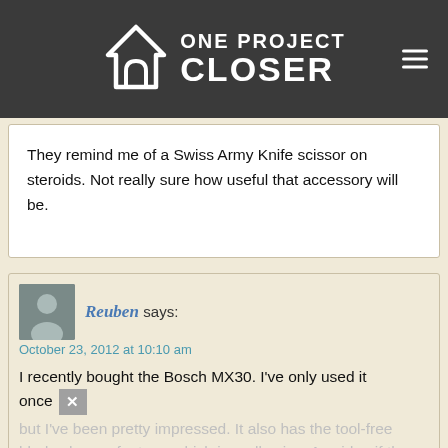ONE PROJECT CLOSER
They remind me of a Swiss Army Knife scissor on steroids. Not really sure how useful that accessory will be.
Reuben says:
October 23, 2012 at 10:10 am
I recently bought the Bosch MX30. I've only used it once but I've been pretty impressed. It also has the tool-free blade change feature, which is really nice. Any idea if the